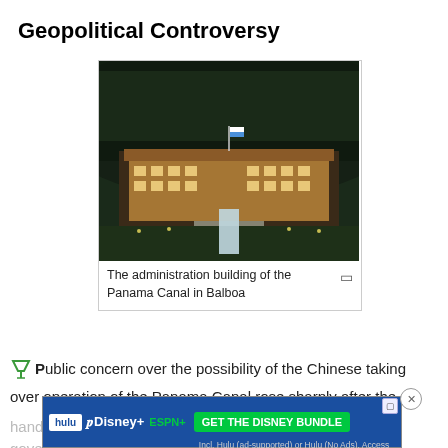Geopolitical Controversy
[Figure (photo): Aerial night photograph of the administration building of the Panama Canal in Balboa, illuminated against a dark hillside background with a flag visible on top.]
The administration building of the Panama Canal in Balboa
Public concern over the possibility of the Chinese taking over operation of the Panama Canal rose sharply after the handover to the Panamanian government on December 31, 1999, when a Hong Kong-based firm, Hutchison Whampoa, was awarded leases at both ends of the strategic waterway.